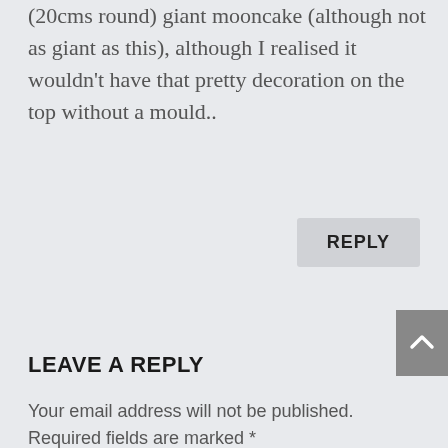(20cms round) giant mooncake (although not as giant as this), although I realised it wouldn't have that pretty decoration on the top without a mould..
REPLY
LEAVE A REPLY
Your email address will not be published. Required fields are marked *